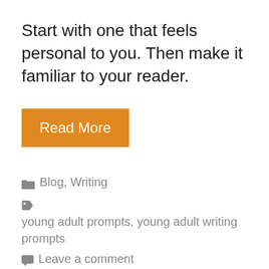Start with one that feels personal to you. Then make it familiar to your reader.
Read More
Blog, Writing
young adult prompts, young adult writing prompts
Leave a comment